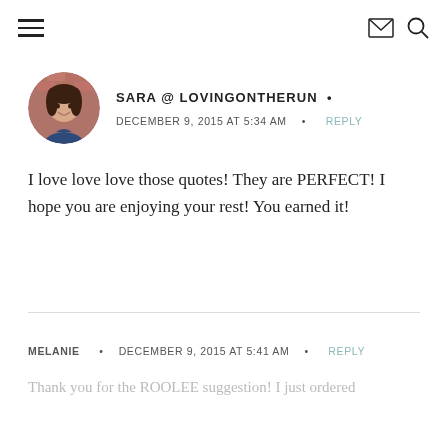≡  ✉  🔍
[Figure (photo): Circular avatar photo of Sara, a woman with dark hair, smiling, wearing a dark blue top, photographed against a brick wall background.]
SARA @ LOVINGONTHERUN •
DECEMBER 9, 2015 AT 5:34 AM • REPLY
I love love love those quotes! They are PERFECT! I hope you are enjoying your rest! You earned it!
MELANIE • DECEMBER 9, 2015 AT 5:41 AM • REPLY
Thank you for the ROOLEE suggestion! I just ordered